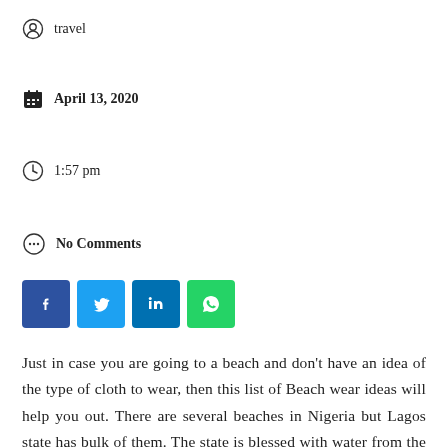travel
April 13, 2020
1:57 pm
No Comments
[Figure (other): Social share buttons: Facebook, Twitter, LinkedIn, WhatsApp]
Just in case you are going to a beach and don't have an idea of the type of cloth to wear, then this list of Beach wear ideas will help you out. There are several beaches in Nigeria but Lagos state has bulk of them. The state is blessed with water from the Atlantic Ocean which makes it home to a wide variety of different beaches.